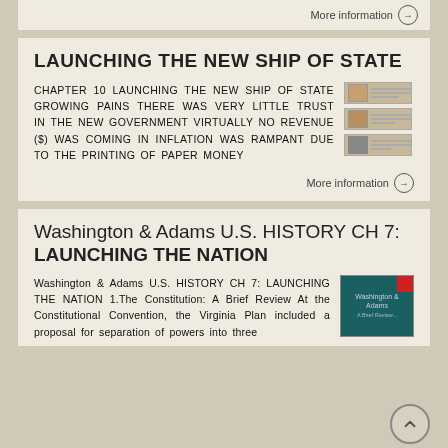More information →
LAUNCHING THE NEW SHIP OF STATE
CHAPTER 10 LAUNCHING THE NEW SHIP OF STATE GROWING PAINS THERE WAS VERY LITTLE TRUST IN THE NEW GOVERNMENT VIRTUALLY NO REVENUE ($) WAS COMING IN INFLATION WAS RAMPANT DUE TO THE PRINTING OF PAPER MONEY
[Figure (illustration): Three document thumbnails stacked vertically]
More information →
Washington & Adams U.S. HISTORY CH 7: LAUNCHING THE NATION
Washington & Adams U.S. HISTORY CH 7: LAUNCHING THE NATION 1.The Constitution: A Brief Review At the Constitutional Convention, the Virginia Plan included a proposal for separation of powers into three
[Figure (screenshot): Dark teal slide thumbnail with red corner accent and text 'Washington & Adams']